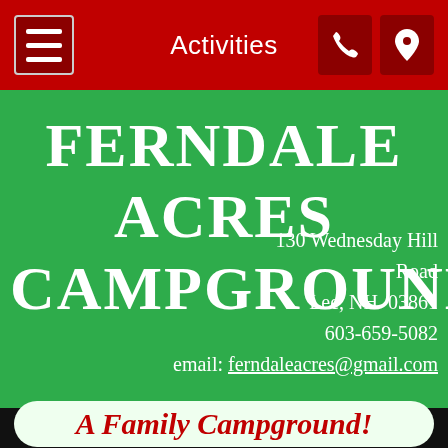Activities
FERNDALE ACRES CAMPGROUND
130 Wednesday Hill Road
Lee, NH  03861
603-659-5082
email: ferndaleacres@gmail.com
A Family Campground!